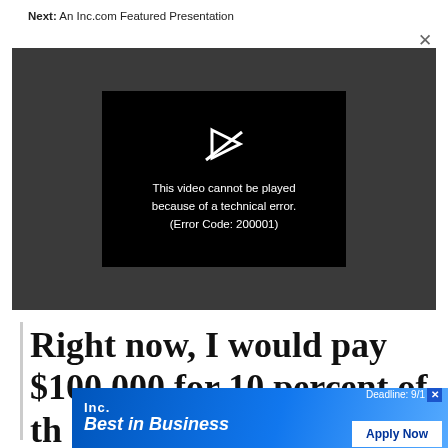Next: An Inc.com Featured Presentation
[Figure (screenshot): Video player showing error message: 'This video cannot be played because of a technical error. (Error Code: 200001)' with a broken play icon on dark background]
Right now, I would pay $100,000 for 10 percent of th
[Figure (infographic): Inc. Best in Business advertisement banner with blue gradient background, 'Deadline: 9/1' text, and 'Apply Now' white button]